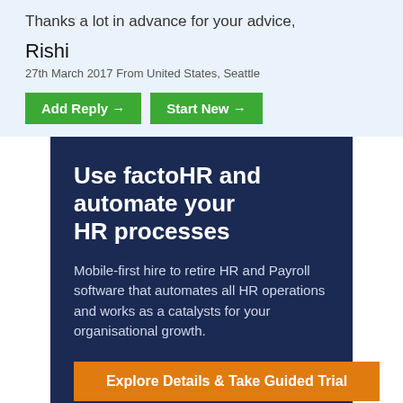Thanks a lot in advance for your advice,
Rishi
27th March 2017 From United States, Seattle
[Figure (screenshot): Two green buttons labeled 'Add Reply →' and 'Start New →']
[Figure (infographic): Dark navy blue advertisement banner for factoHR with headline 'Use factoHR and automate your HR processes', body text about mobile-first HR and Payroll software, and an orange CTA button 'Explore Details & Take Guided Trial']
Dinesh Divekar ★ 7531
2